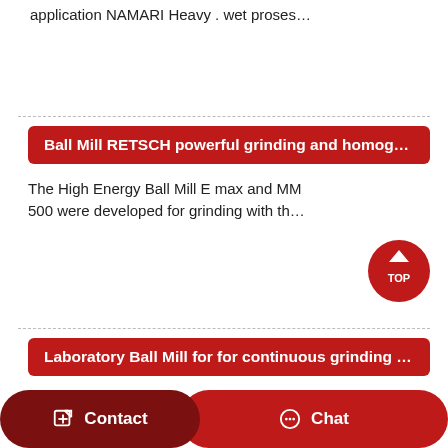application NAMARI Heavy . wet proses…
Ball Mill RETSCH powerful grinding and homogeniz…
The High Energy Ball Mill E max and MM 500 were developed for grinding with th…
[Figure (other): Red circular TOP button with upward arrow]
Laboratory Ball Mill for for continuous grinding opera…
Laboratory Ball Mill for routine research
Contact   Chat